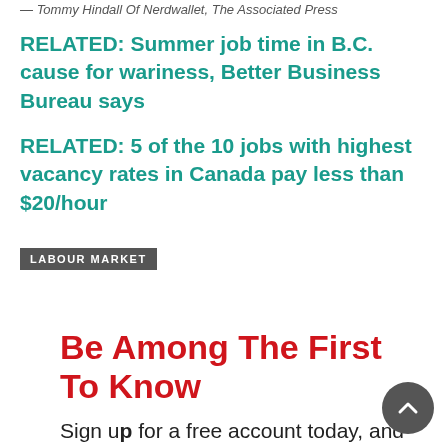— Tommy Hindall Of Nerdwallet, The Associated Press
RELATED: Summer job time in B.C. cause for wariness, Better Business Bureau says
RELATED: 5 of the 10 jobs with highest vacancy rates in Canada pay less than $20/hour
LABOUR MARKET
Be Among The First To Know
Sign up for a free account today, and receive top headlines in your inbox Monday to Saturday.